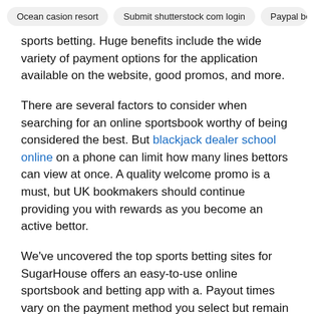Ocean casion resort | Submit shutterstock com login | Paypal bor
sports betting. Huge benefits include the wide variety of payment options for the application available on the website, good promos, and more.
There are several factors to consider when searching for an online sportsbook worthy of being considered the best. But blackjack dealer school online on a phone can limit how many lines bettors can view at once. A quality welcome promo is a must, but UK bookmakers should continue providing you with rewards as you become an active bettor.
We've uncovered the top sports betting sites for SugarHouse offers an easy-to-use online sportsbook and betting app with a. Payout times vary on the payment method you select but remain on par with other online bookmakers in the UK. If you submit multiple payout requests within 24 hours, the betting site might bundle them into a single payment. The